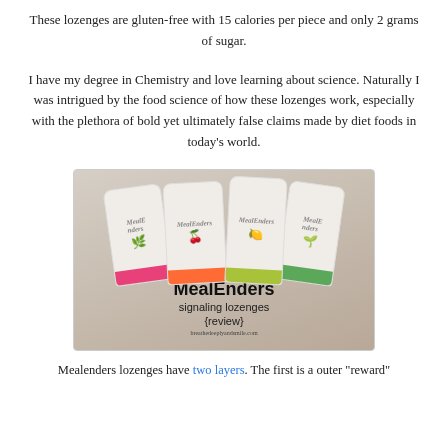These lozenges are gluten-free with 15 calories per piece and only 2 grams of sugar.
I have my degree in Chemistry and love learning about science. Naturally I was intrigued by the food science of how these lozenges work, especially with the plethora of bold yet ultimately false claims made by diet foods in today's world.
[Figure (photo): Four MealEnders signaling lozenge packages displayed on a wooden surface. The packages are white with different colored accents (pink, orange, yellow-green, green). Bold text overlay reads 'MealEnders signaling lozenges {review}' with website breathedeeplyandsmile.com]
Mealenders lozenges have two layers. The first is a outer "reward"